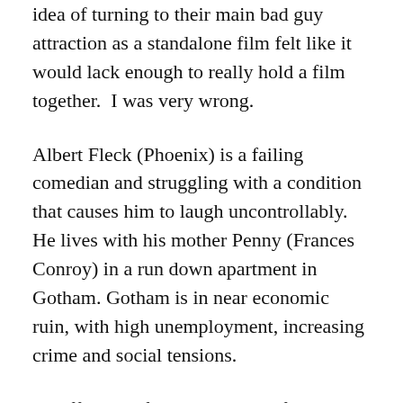idea of turning to their main bad guy attraction as a standalone film felt like it would lack enough to really hold a film together.  I was very wrong.
Albert Fleck (Phoenix) is a failing comedian and struggling with a condition that causes him to laugh uncontrollably. He lives with his mother Penny (Frances Conroy) in a run down apartment in Gotham. Gotham is in near economic ruin, with high unemployment, increasing crime and social tensions.
I'll offer little further in terms of plot given that the well known 'origin' nature of the film means most will already know where it's going, the real enjoyment is how it gets there.
Todd Phillips directs and co-wrote (with Scott